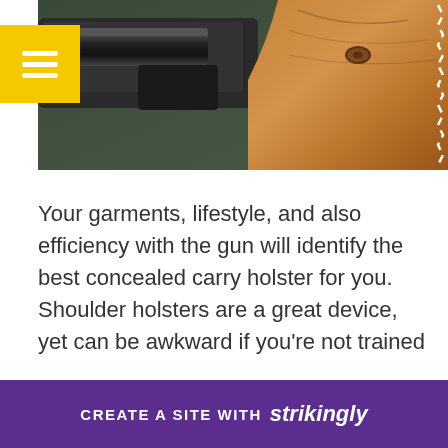[Figure (photo): Close-up photo of a gun barrel and brown leather holster with white stitching on a dark green surface]
Your garments, lifestyle, and also efficiency with the gun will identify the best concealed carry holster for you. Shoulder holsters are a great device, yet can be awkward if you're not trained in their usage. Shoulder reholsters are an excellent choice for individuals that take a trip regularly or that function from residence. These rigs are additionally best for deep camouflage. Read on for more details. It's comfortable, and also permits you to position and position. The rig is va... and it
[Figure (other): Purple banner at the bottom reading CREATE A SITE WITH strikingly]